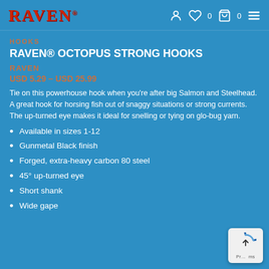RAVEN® — navigation header with user, wishlist (0), cart (0), and menu icons
HOOKS
RAVEN® OCTOPUS STRONG HOOKS
RAVEN
USD 5.29 – USD 25.99
Tie on this powerhouse hook when you're after big Salmon and Steelhead. A great hook for horsing fish out of snaggy situations or strong currents. The up-turned eye makes it ideal for snelling or tying on glo-bug yarn.
Available in sizes 1-12
Gunmetal Black finish
Forged, extra-heavy carbon 80 steel
45° up-turned eye
Short shank
Wide gape